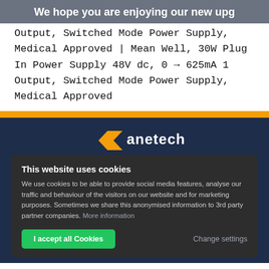We hope you are enjoying our new upg
Output, Switched Mode Power Supply, Medical Approved | Mean Well, 30W Plug In Power Supply 48V dc, 0 → 625mA 1 Output, Switched Mode Power Supply, Medical Approved
[Figure (logo): Eurotech/anetech logo with orange chevron/arrow and white text on dark navy background]
This website uses cookies
We use cookies to be able to provide social media features, analyse our traffic and behaviour of the visitors on our website and for marketing purposes. Sometimes we share this anonymised information to 3rd party partner companies. More information
I accept all Cookies   Change settings
News & Blogs